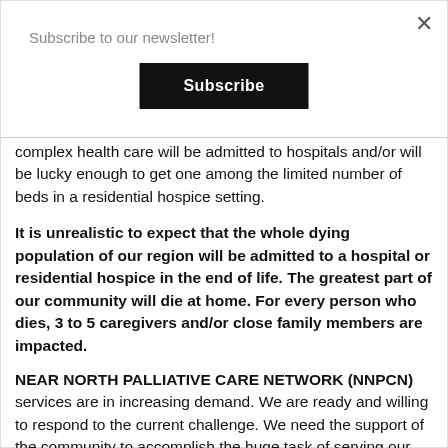Subscribe to our newsletter!
complex health care will be admitted to hospitals and/or will be lucky enough to get one among the limited number of beds in a residential hospice setting.
It is unrealistic to expect that the whole dying population of our region will be admitted to a hospital or residential hospice in the end of life. The greatest part of our community will die at home. For every person who dies, 3 to 5 caregivers and/or close family members are impacted.
NEAR NORTH PALLIATIVE CARE NETWORK (NNPCN)
services are in increasing demand. We are ready and willing to respond to the current challenge. We need the support of the community to accomplish the huge task of serving our whole population.